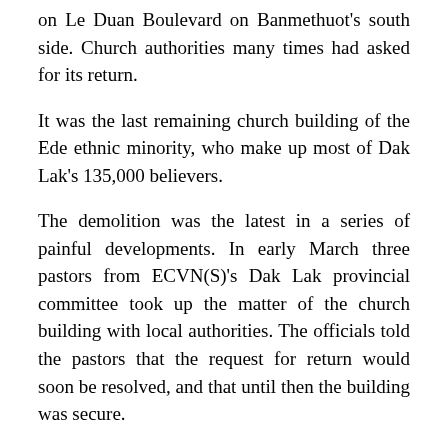on Le Duan Boulevard on Banmethuot's south side. Church authorities many times had asked for its return.
It was the last remaining church building of the Ede ethnic minority, who make up most of Dak Lak's 135,000 believers.
The demolition was the latest in a series of painful developments. In early March three pastors from ECVN(S)'s Dak Lak provincial committee took up the matter of the church building with local authorities. The officials told the pastors that the request for return would soon be resolved, and that until then the building was secure.
But on March 11, rumors of an imminent plan to demolish the church reached members of the ECVN(S) provincial committee. Alarmed, they called their top leaders at Ho Chi Minh City headquarters. The church president promptly agreed to call the office of Prime Minister Nguyen Tan Dung and the Ministry of